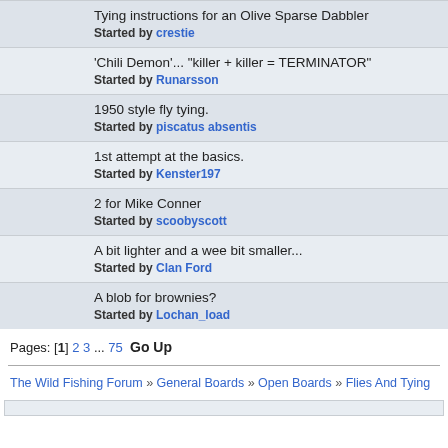Tying instructions for an Olive Sparse Dabbler — Started by crestie
'Chili Demon'... "killer + killer = TERMINATOR" — Started by Runarsson
1950 style fly tying. — Started by piscatus absentis
1st attempt at the basics. — Started by Kenster197
2 for Mike Conner — Started by scoobyscott
A bit lighter and a wee bit smaller... — Started by Clan Ford
A blob for brownies? — Started by Lochan_load
Pages: [1] 2 3 ... 75  Go Up
The Wild Fishing Forum » General Boards » Open Boards » Flies And Tying